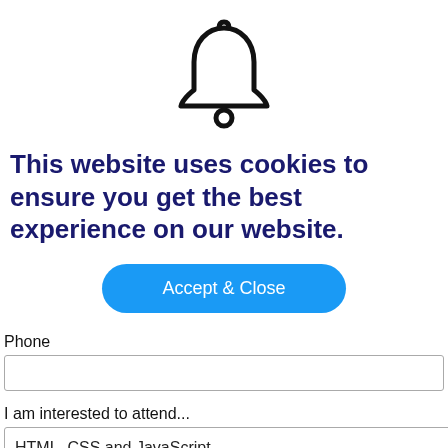[Figure (illustration): Bell icon — outline drawing of a notification bell centered at top of page]
This website uses cookies to ensure you get the best experience on our website.
[Figure (other): Blue rounded rectangle button labeled 'Accept & Close']
Phone
[Figure (other): Empty text input field for Phone]
I am interested to attend...
[Figure (other): Dropdown select showing 'HTML, CSS and JavaScript' with chevron]
Message/Topic Name (If you selected "None Of The Above")
[Figure (other): Empty text input field for Message/Topic Name]